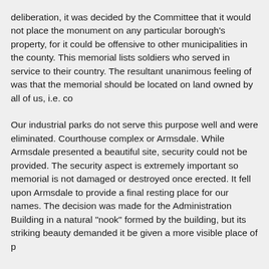deliberation, it was decided by the Committee that it would not place the monument on any particular borough's property, for it could be offensive to other municipalities in the county. This memorial lists soldiers who served in service to their country. The resultant unanimous feeling of was that the memorial should be located on land owned by all of us, i.e. co
Our industrial parks do not serve this purpose well and were eliminated. Courthouse complex or Armsdale. While Armsdale presented a beautiful site, security could not be provided. The security aspect is extremely important so memorial is not damaged or destroyed once erected. It fell upon Armsdale to provide a final resting place for our names. The decision was made for the Administration Building in a natural "nook" formed by the building, but its striking beauty demanded it be given a more visible place of p
Inclusive, Not Exclusive
There is no standard set when it comes to war memorials. The listings vary from all who serve to ones that only list those who died. In World War II, diseases such as camp fever (Civil War) and infl fatalities are as devastating and, til histories are in